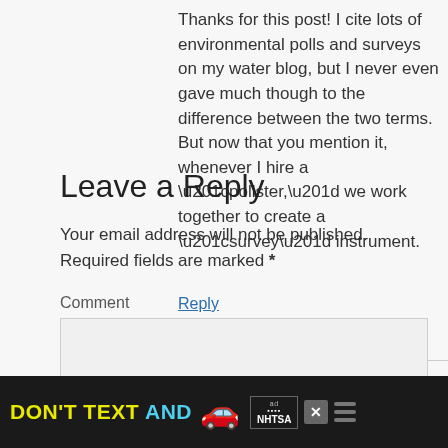Thanks for this post! I cite lots of environmental polls and surveys on my water blog, but I never even gave much though to the difference between the two terms. But now that you mention it, whenever I hire a “pollster,” we work together to create a “survey” instrument.
Reply
Leave a Reply
Your email address will not be published. Required fields are marked *
Comment
[Figure (other): Advertisement banner: DON'T TEXT AND [car emoji] with NHTSA logo on dark background]